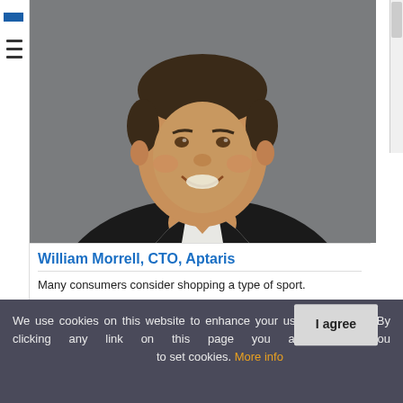[Figure (photo): Professional headshot of a middle-aged man in a black suit and white open-collar shirt, smiling, against a gray background.]
William Morrell, CTO, Aptaris
Many consumers consider shopping a type of sport.
We use cookies on this website to enhance your user experience. By clicking any link on this page you are giving your consent for us to set cookies. More info